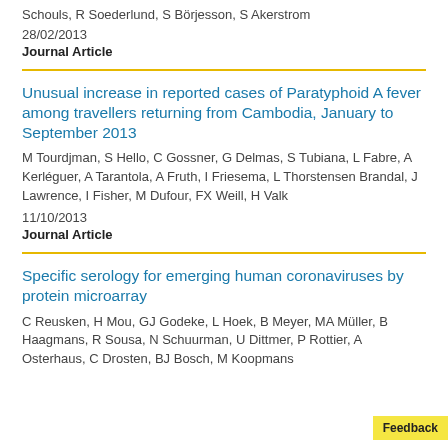Schouls, R Soederlund, S Börjesson, S Akerstrom
28/02/2013
Journal Article
Unusual increase in reported cases of Paratyphoid A fever among travellers returning from Cambodia, January to September 2013
M Tourdjman, S Hello, C Gossner, G Delmas, S Tubiana, L Fabre, A Kerléguer, A Tarantola, A Fruth, I Friesema, L Thorstensen Brandal, J Lawrence, I Fisher, M Dufour, FX Weill, H Valk
11/10/2013
Journal Article
Specific serology for emerging human coronaviruses by protein microarray
C Reusken, H Mou, GJ Godeke, L Hoek, B Meyer, MA Müller, B Haagmans, R Sousa, N Schuurman, U Dittmer, P Rottier, A Osterhaus, C Drosten, BJ Bosch, M Koopmans